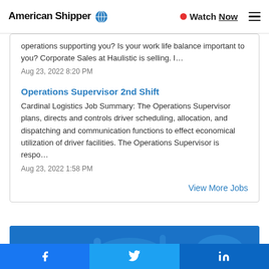American Shipper | Watch Now
operations supporting you? Is your work life balance important to you? Corporate Sales at Haulistic is selling. I…
Aug 23, 2022 8:20 PM
Operations Supervisor 2nd Shift
Cardinal Logistics Job Summary: The Operations Supervisor plans, directs and controls driver scheduling, allocation, and dispatching and communication functions to effect economical utilization of driver facilities. The Operations Supervisor is respo…
Aug 23, 2022 1:58 PM
View More Jobs
[Figure (photo): Blue-toned background image showing people in an office/logistics setting]
Facebook | Twitter | LinkedIn social share buttons